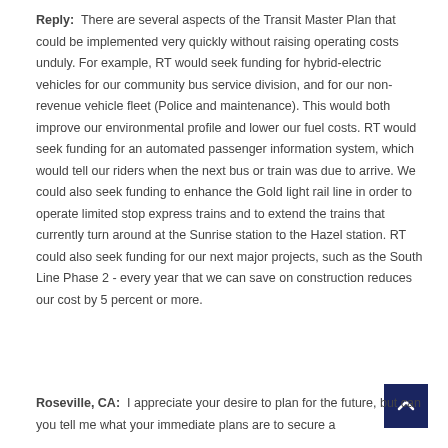Reply: There are several aspects of the Transit Master Plan that could be implemented very quickly without raising operating costs unduly. For example, RT would seek funding for hybrid-electric vehicles for our community bus service division, and for our non-revenue vehicle fleet (Police and maintenance). This would both improve our environmental profile and lower our fuel costs. RT would seek funding for an automated passenger information system, which would tell our riders when the next bus or train was due to arrive. We could also seek funding to enhance the Gold light rail line in order to operate limited stop express trains and to extend the trains that currently turn around at the Sunrise station to the Hazel station. RT could also seek funding for our next major projects, such as the South Line Phase 2 - every year that we can save on construction reduces our cost by 5 percent or more.
Roseville, CA: I appreciate your desire to plan for the future, but can you tell me what your immediate plans are to secure a